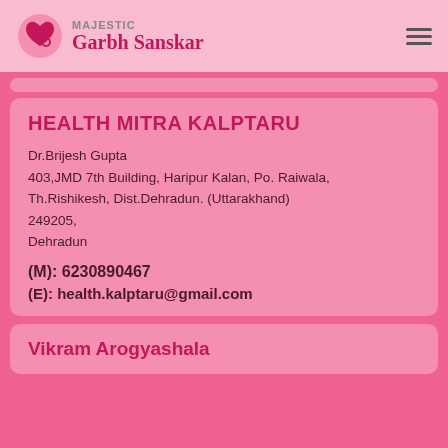Majestic Garbh Sanskar
HEALTH MITRA KALPTARU
Dr.Brijesh Gupta
403,JMD 7th Building, Haripur Kalan, Po. Raiwala, Th.Rishikesh, Dist.Dehradun. (Uttarakhand) 249205,
Dehradun
(M): 6230890467
(E): health.kalptaru@gmail.com
Vikram Arogyashala